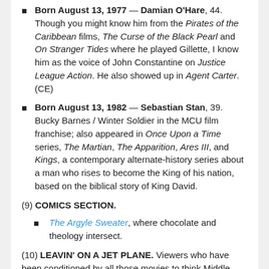Born August 13, 1977 — Damian O'Hare, 44. Though you might know him from the Pirates of the Caribbean films, The Curse of the Black Pearl and On Stranger Tides where he played Gillette, I know him as the voice of John Constantine on Justice League Action. He also showed up in Agent Carter. (CE)
Born August 13, 1982 — Sebastian Stan, 39. Bucky Barnes / Winter Soldier in the MCU film franchise; also appeared in Once Upon a Time series, The Martian, The Apparition, Ares III, and Kings, a contemporary alternate-history series about a man who rises to become the King of his nation, based on the biblical story of King David.
(9) COMICS SECTION.
The Argyle Sweater, where chocolate and theology intersect.
(10) LEAVIN' ON A JET PLANE. Viewers who have been conditioned by all those movies to think Middle Earth is a